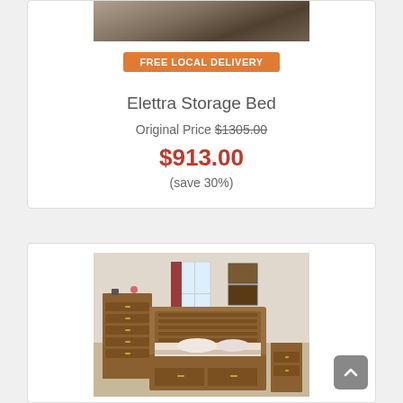[Figure (photo): Top portion of a bedroom furniture product image (cropped), showing a bed on a rug in a room setting]
FREE LOCAL DELIVERY
Elettra Storage Bed
Original Price $1305.00
$913.00
(save 30%)
[Figure (photo): Bedroom set featuring a wooden sleigh bed with storage drawers, matching tall dresser/chest with multiple drawers, nightstand, and decorative art on the wall, styled in a warm rustic brown finish]